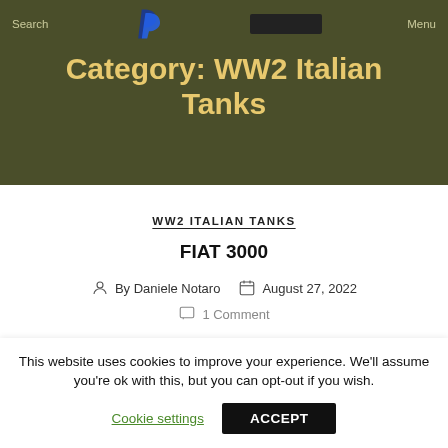Search  Menu
Category: WW2 Italian Tanks
WW2 ITALIAN TANKS
FIAT 3000
By Daniele Notaro   August 27, 2022
1 Comment
This website uses cookies to improve your experience. We'll assume you're ok with this, but you can opt-out if you wish.
Cookie settings   ACCEPT